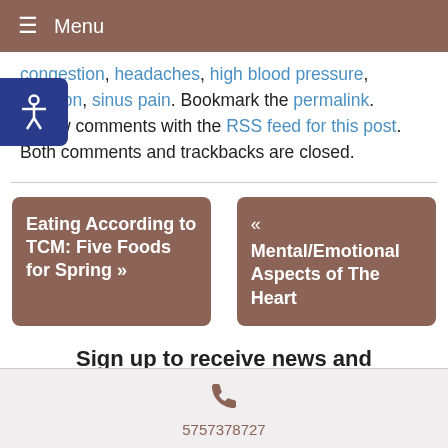Menu
congestion, headaches, high blood pressure, irritation, sinus pain. Bookmark the permalink. Follow comments with the RSS feed for this post. Both comments and trackbacks are closed.
Eating According to TCM: Five Foods for Spring »
« Mental/Emotional Aspects of The Heart
Sign up to receive news and
5757378727